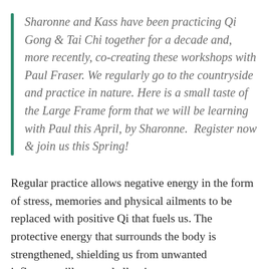Sharonne and Kass have been practicing Qi Gong & Tai Chi together for a decade and, more recently, co-creating these workshops with Paul Fraser. We regularly go to the countryside and practice in nature. Here is a small taste of the Large Frame form that we will be learning with Paul this April, by Sharonne.  Register now & join us this Spring!
Regular practice allows negative energy in the form of stress, memories and physical ailments to be replaced with positive Qi that fuels us. The protective energy that surrounds the body is strengthened, shielding us from unwanted influences, illness and allergies to name...